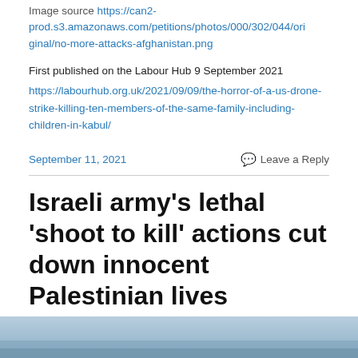Image source https://can2-prod.s3.amazonaws.com/petitions/photos/000/302/044/original/no-more-attacks-afghanistan.png
First published on the Labour Hub 9 September 2021
https://labourhub.org.uk/2021/09/09/the-horror-of-a-us-drone-strike-killing-ten-members-of-the-same-family-including-children-in-kabul/
September 11, 2021
Leave a Reply
Israeli army's lethal 'shoot to kill' actions cut down innocent Palestinian lives
[Figure (photo): Bottom portion of a photograph, partially visible]